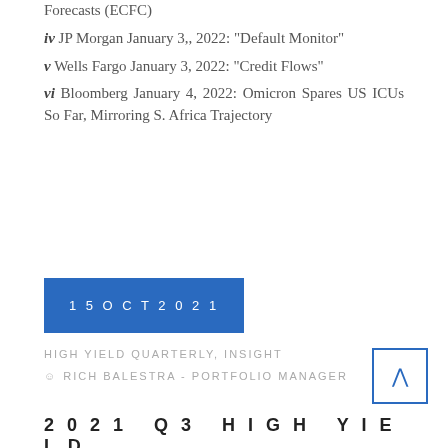Forecasts (ECFC)
iv JP Morgan January 3,, 2022: “Default Monitor”
v Wells Fargo January 3, 2022: “Credit Flows”
vi Bloomberg January 4, 2022: Omicron Spares US ICUs So Far, Mirroring S. Africa Trajectory
15 OCT 2021
HIGH YIELD QUARTERLY, INSIGHT
RICH BALESTRA - PORTFOLIO MANAGER
2021 Q3 HIGH YIELD